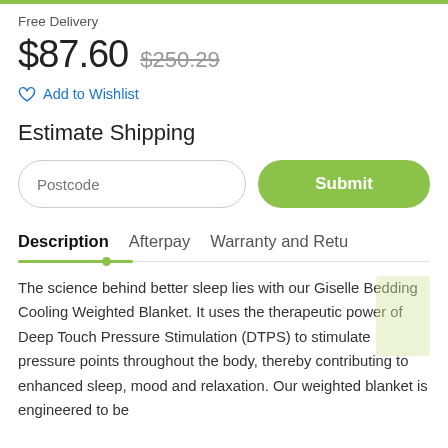Free Delivery
$87.60  $250.29
Add to Wishlist
Estimate Shipping
Postcode
Submit
Description   Afterpay   Warranty and Retu
The science behind better sleep lies with our Giselle Bedding Cooling Weighted Blanket. It uses the therapeutic power of Deep Touch Pressure Stimulation (DTPS) to stimulate pressure points throughout the body, thereby contributing to enhanced sleep, mood and relaxation. Our weighted blanket is engineered to be